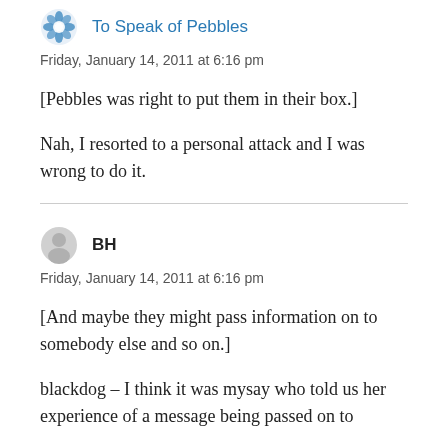To Speak of Pebbles
Friday, January 14, 2011 at 6:16 pm
[Pebbles was right to put them in their box.]
Nah, I resorted to a personal attack and I was wrong to do it.
BH
Friday, January 14, 2011 at 6:16 pm
[And maybe they might pass information on to somebody else and so on.]
blackdog – I think it was mysay who told us her experience of a message being passed on to